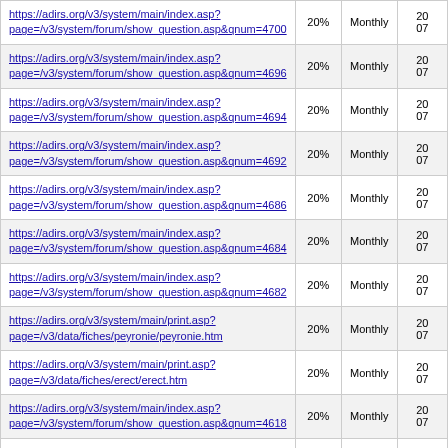| URL | Change Frequency | Priority | Last Modified |
| --- | --- | --- | --- |
| https://adirs.org/v3/system/main/index.asp?page=/v3/system/forum/show_question.asp&qnum=4700 | 20% | Monthly | 20... 07... |
| https://adirs.org/v3/system/main/index.asp?page=/v3/system/forum/show_question.asp&qnum=4696 | 20% | Monthly | 20... 07... |
| https://adirs.org/v3/system/main/index.asp?page=/v3/system/forum/show_question.asp&qnum=4694 | 20% | Monthly | 20... 07... |
| https://adirs.org/v3/system/main/index.asp?page=/v3/system/forum/show_question.asp&qnum=4692 | 20% | Monthly | 20... 07... |
| https://adirs.org/v3/system/main/index.asp?page=/v3/system/forum/show_question.asp&qnum=4686 | 20% | Monthly | 20... 07... |
| https://adirs.org/v3/system/main/index.asp?page=/v3/system/forum/show_question.asp&qnum=4684 | 20% | Monthly | 20... 07... |
| https://adirs.org/v3/system/main/index.asp?page=/v3/system/forum/show_question.asp&qnum=4682 | 20% | Monthly | 20... 07... |
| https://adirs.org/v3/system/main/print.asp?page=/v3/data/fiches/peyronie/peyronie.htm | 20% | Monthly | 20... 07... |
| https://adirs.org/v3/system/main/print.asp?page=/v3/data/fiches/erect/erect.htm | 20% | Monthly | 20... 07... |
| https://adirs.org/v3/system/main/index.asp?page=/v3/system/forum/show_question.asp&qnum=4618 | 20% | Monthly | 20... 07... |
| https://adirs.org/v3/system/main/index.asp?page=/v3/system/forum/show_question.asp&qnum=4688 | 20% | Monthly | 20... 07... |
| https://adirs.org/v3/system/main/index.asp?page=/v3/system/forum/show_question.asp&qnum=4769 | 20% | Monthly | 20... 04... |
| https://adirs.org/v3/system/main/index.asp?page=/v3/system/forum/show_question.asp&qnum=4762 | 20% | Monthly | 20... 04... |